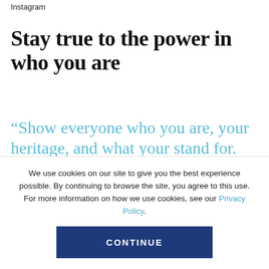Instagram
Stay true to the power in who you are
“Show everyone who you are, your heritage, and what your stand for. We should embrace
We use cookies on our site to give you the best experience possible. By continuing to browse the site, you agree to this use. For more information on how we use cookies, see our Privacy Policy.
CONTINUE